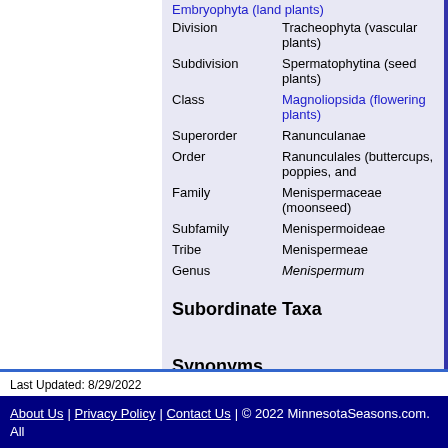| Rank | Value |
| --- | --- |
| Division | Tracheophyta (vascular plants) |
| Subdivision | Spermatophytina (seed plants) |
| Class | Magnoliopsida (flowering plants) |
| Superorder | Ranunculanae |
| Order | Ranunculales (buttercups, poppies, and... |
| Family | Menispermaceae (moonseed) |
| Subfamily | Menispermoideae |
| Tribe | Menispermeae |
| Genus | Menispermum |
Subordinate Taxa
Synonyms
Menispermum mexicanum
Common Names
Canada moonseed
Canadian moonseed
Carolina moonseed
Last Updated: 8/29/2022
About Us | Privacy Policy | Contact Us | © 2022 MinnesotaSeasons.com. All